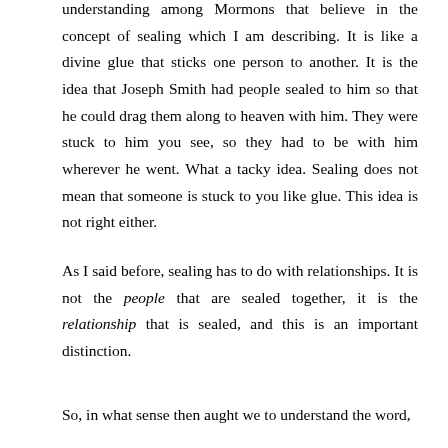understanding among Mormons that believe in the concept of sealing which I am describing. It is like a divine glue that sticks one person to another. It is the idea that Joseph Smith had people sealed to him so that he could drag them along to heaven with him. They were stuck to him you see, so they had to be with him wherever he went. What a tacky idea. Sealing does not mean that someone is stuck to you like glue. This idea is not right either.
As I said before, sealing has to do with relationships. It is not the people that are sealed together, it is the relationship that is sealed, and this is an important distinction.
So, in what sense then aught we to understand the word, "seal"? I have already defined some of the words and